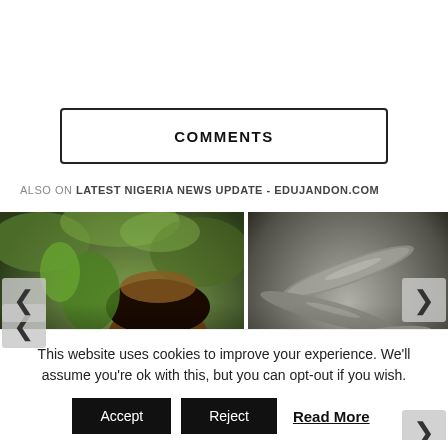COMMENTS
ALSO ON LATEST NIGERIA NEWS UPDATE - EDUJANDON.COM
[Figure (photo): Card showing a child with plants, with text 'rs ago • 1 comment' and title 'Are They Humans Really! Meet The...']
[Figure (photo): Card showing small fish, with text '2 years ago • 1 commen' and title 'Small Fishes Always Come Out of My...']
This website uses cookies to improve your experience. We'll assume you're ok with this, but you can opt-out if you wish.
Accept  Reject  Read More